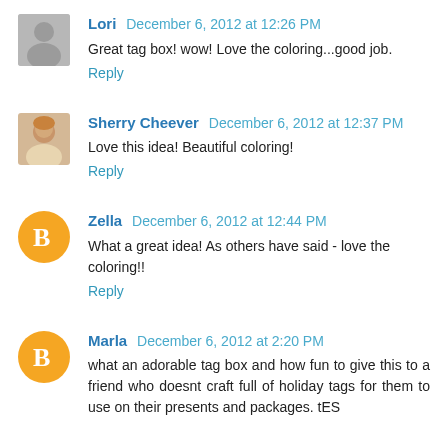[Figure (photo): Avatar photo of Lori, black and white image]
Lori December 6, 2012 at 12:26 PM
Great tag box! wow! Love the coloring...good job.
Reply
[Figure (photo): Avatar photo of Sherry Cheever, woman smiling outdoors]
Sherry Cheever December 6, 2012 at 12:37 PM
Love this idea! Beautiful coloring!
Reply
[Figure (logo): Blogger default avatar icon, orange circle with white B]
Zella December 6, 2012 at 12:44 PM
What a great idea! As others have said - love the coloring!!
Reply
[Figure (logo): Blogger default avatar icon, orange circle with white B]
Marla December 6, 2012 at 2:20 PM
what an adorable tag box and how fun to give this to a friend who doesnt craft full of holiday tags for them to use on their presents and packages. tES